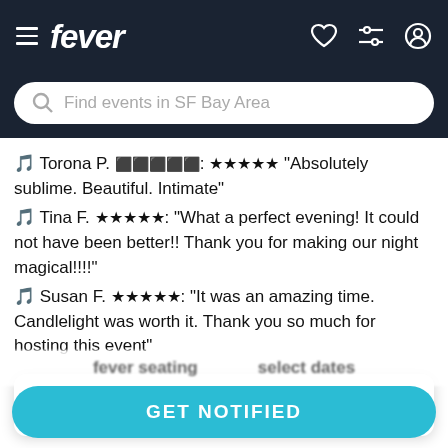fever
Find events in SF Bay Area
Torona P. ★★★★★: "Absolutely sublime. Beautiful. Intimate"
Tina F. ★★★★★: "What a perfect evening! It could not have been better!! Thank you for making our night magical!!!!"
Susan F. ★★★★★: "It was an amazing time. Candlelight was worth it. Thank you so much for hosting this event"
Get notified when this or something similar is available
GET NOTIFIED